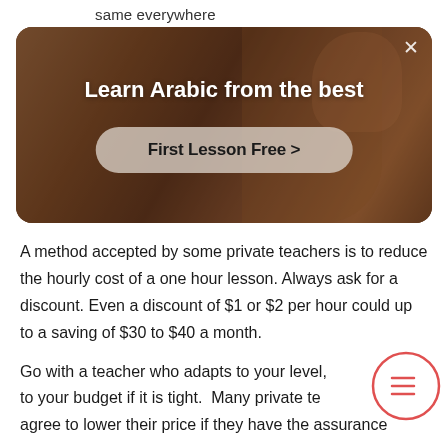same everywhere
[Figure (screenshot): Advertisement banner with dark warm-toned background photo of a person in a room. White bold text reads 'Learn Arabic from the best' with a rounded button 'First Lesson Free >' below. A close X button is in the top right corner.]
A method accepted by some private teachers is to reduce the hourly cost of a one hour lesson. Always ask for a discount. Even a discount of $1 or $2 per hour could up to a saving of $30 to $40 a month.
Go with a teacher who adapts to your level, to your budget if it is tight. Many private te agree to lower their price if they have the assurance